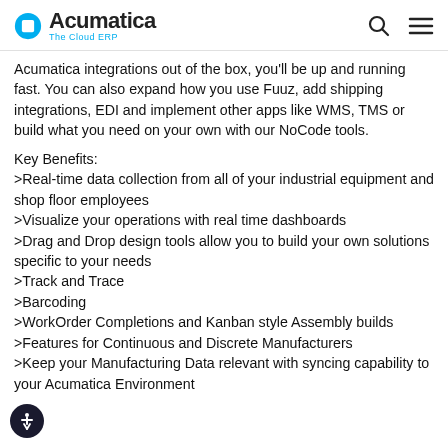Acumatica The Cloud ERP
Acumatica integrations out of the box, you'll be up and running fast. You can also expand how you use Fuuz, add shipping integrations, EDI and implement other apps like WMS, TMS or build what you need on your own with our NoCode tools.
Key Benefits:
>Real-time data collection from all of your industrial equipment and shop floor employees
>Visualize your operations with real time dashboards
>Drag and Drop design tools allow you to build your own solutions specific to your needs
>Track and Trace
>Barcoding
>WorkOrder Completions and Kanban style Assembly builds
>Features for Continuous and Discrete Manufacturers
>Keep your Manufacturing Data relevant with syncing capability to your Acumatica Environment